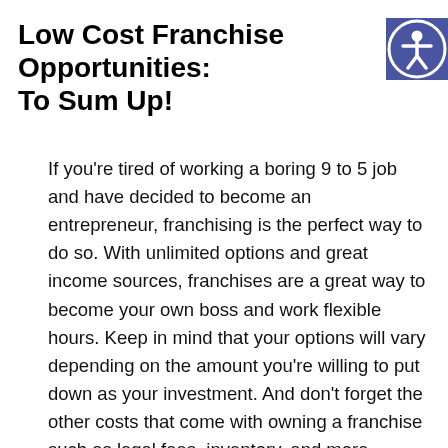Low Cost Franchise Opportunities: To Sum Up!
[Figure (illustration): Accessibility icon — white person with arms and legs spread inside a circle, on a blue/indigo square background]
If you’re tired of working a boring 9 to 5 job and have decided to become an entrepreneur, franchising is the perfect way to do so. With unlimited options and great income sources, franchises are a great way to become your own boss and work flexible hours. Keep in mind that your options will vary depending on the amount you’re willing to put down as your investment. And don’t forget the other costs that come with owning a franchise such as legal fees, inventory, and more.
If you’ve decided on which industry you want to franchise in, My Franchise CPAs is here to ensure that you build a solid business plan and find